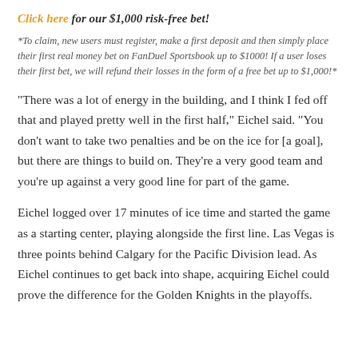Click here for our $1,000 risk-free bet!
*To claim, new users must register, make a first deposit and then simply place their first real money bet on FanDuel Sportsbook up to $1000! If a user loses their first bet, we will refund their losses in the form of a free bet up to $1,000!*
“There was a lot of energy in the building, and I think I fed off that and played pretty well in the first half,” Eichel said. “You don’t want to take two penalties and be on the ice for [a goal], but there are things to build on. They’re a very good team and you’re up against a very good line for part of the game.
Eichel logged over 17 minutes of ice time and started the game as a starting center, playing alongside the first line. Las Vegas is three points behind Calgary for the Pacific Division lead. As Eichel continues to get back into shape, acquiring Eichel could prove the difference for the Golden Knights in the playoffs.